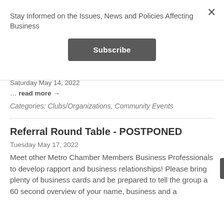Stay Informed on the Issues, News and Policies Affecting Business
Subscribe
Saturday May 14, 2022
… read more →
Categories: Clubs/Organizations, Community Events
Referral Round Table - POSTPONED
Tuesday May 17, 2022
Meet other Metro Chamber Members Business Professionals to develop rapport and business relationships! Please bring plenty of business cards and be prepared to tell the group a 60 second overview of your name, business and a